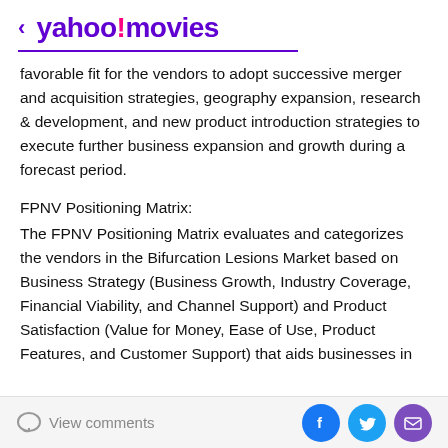< yahoo!movies
favorable fit for the vendors to adopt successive merger and acquisition strategies, geography expansion, research & development, and new product introduction strategies to execute further business expansion and growth during a forecast period.
FPNV Positioning Matrix:
The FPNV Positioning Matrix evaluates and categorizes the vendors in the Bifurcation Lesions Market based on Business Strategy (Business Growth, Industry Coverage, Financial Viability, and Channel Support) and Product Satisfaction (Value for Money, Ease of Use, Product Features, and Customer Support) that aids businesses in
View comments